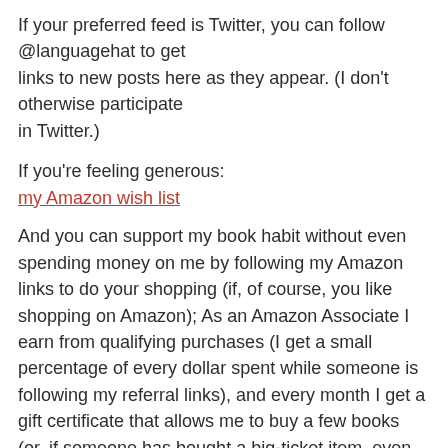If your preferred feed is Twitter, you can follow @languagehat to get links to new posts here as they appear. (I don't otherwise participate in Twitter.)
If you're feeling generous:
my Amazon wish list
And you can support my book habit without even spending money on me by following my Amazon links to do your shopping (if, of course, you like shopping on Amazon); As an Amazon Associate I earn from qualifying purchases (I get a small percentage of every dollar spent while someone is following my referral links), and every month I get a gift certificate that allows me to buy a few books (or, if someone has bought a big-ticket item, even more). You will not only get your purchases, you will get my blessings and a karmic boost!
If your comment goes into moderation (which can happen if it has too many links or if the software just takes it into its head to be suspicious), I will usually set it free reasonably quickly…